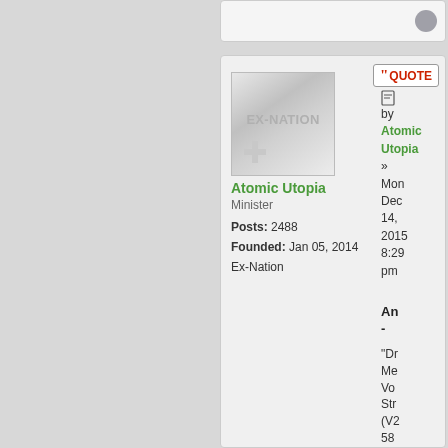[Figure (screenshot): Forum post screenshot showing an Ex-Nation avatar image with 'EX-NATION' text, user profile for Atomic Utopia (Minister, Posts: 2488, Founded: Jan 05, 2014, Ex-Nation), a QUOTE button, post metadata including date Mon Dec 14, 2015 8:29 pm, and partial post content.]